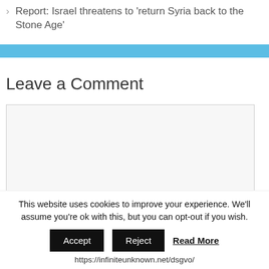> Report: Israel threatens to 'return Syria back to the Stone Age'
Leave a Comment
This website uses cookies to improve your experience. We'll assume you're ok with this, but you can opt-out if you wish.
Accept  Reject  Read More
https://infiniteunknown.net/dsgvo/